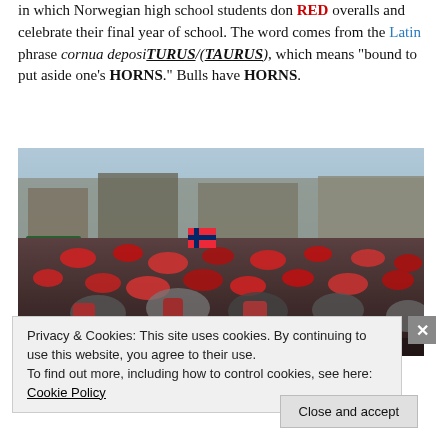in which Norwegian high school students don RED overalls and celebrate their final year of school. The word comes from the Latin phrase cornua depositURUS/(TAURUS), which means "bound to put aside one's HORNS." Bulls have HORNS.
[Figure (photo): A large crowd of Norwegian students celebrating, many wearing red hats and red overalls, waving Norwegian flags in a busy city street setting.]
Privacy & Cookies: This site uses cookies. By continuing to use this website, you agree to their use.
To find out more, including how to control cookies, see here: Cookie Policy
Close and accept